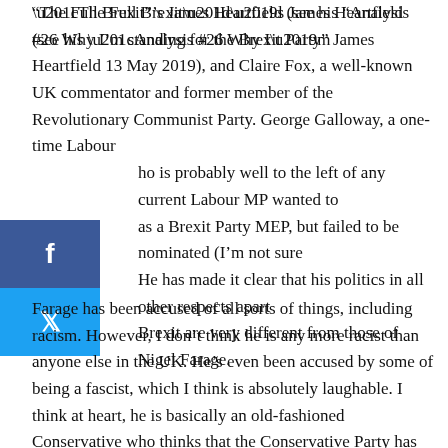“The Full Brexit”’s James Heartfield (see his “Analysis #26 Why I’m standing for the Brexit Party” James Heartfield 13 May 2019), and Claire Fox, a well-known UK commentator and former member of the Revolutionary Communist Party. George Galloway, a one-time Labour [MP] who is probably well to the left of any current Labour MP wanted to [stand] as a Brexit Party MEP, but failed to be nominated (I’m not sure [why]). He has made it clear that his politics in all other respects apart [from] Brexit are very different from those of Nigel Farage.
[Figure (other): Social media sharing buttons: Facebook (blue) and Twitter (light blue) icons stacked vertically on the left side of the page]
Farage has been accused of all sorts of things, including racism. However, I don’t think he is any more racist than anyone else in the UK. He’s even been accused by some of being a fascist, which I think is absolutely laughable. I think at heart, he is basically an old-fashioned Conservative who thinks that the Conservative Party has let the country down. I would not want to see him in government, but then, I don’t want to see a Conservative government, although we’ve had one since 2010 (partly thanks to the…